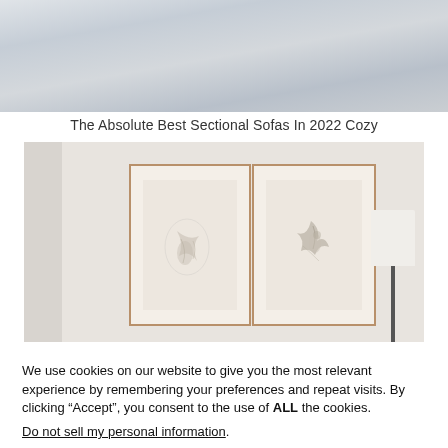[Figure (photo): Top portion of a room photo — light grey/silver textured surface, appears to be a close-up of fabric or a sofa top]
The Absolute Best Sectional Sofas In 2022 Cozy
[Figure (photo): Interior room photo showing two framed abstract artworks hung on a beige/cream wall, with a white lamp shade visible on the right side]
We use cookies on our website to give you the most relevant experience by remembering your preferences and repeat visits. By clicking “Accept”, you consent to the use of ALL the cookies.
Do not sell my personal information.
Cookie Settings
Accept